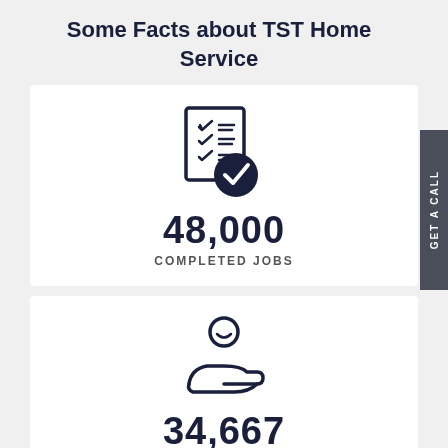Some Facts about TST Home Service
[Figure (illustration): Checklist icon with a dark navy circle checkmark badge overlay]
48,000
COMPLETED JOBS
[Figure (illustration): Person with hand extended icon (customer service / support)]
34,667